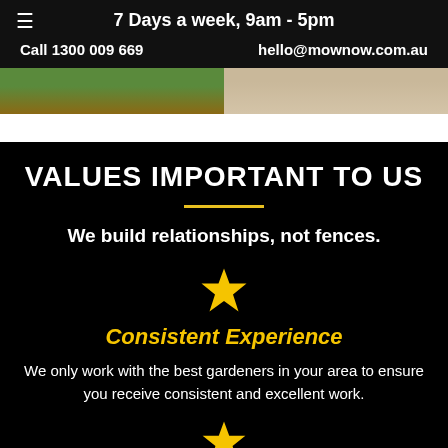7 Days a week, 9am - 5pm
Call 1300 009 669   hello@mownow.com.au
[Figure (photo): Two garden/outdoor photos side by side — left shows green lawn and wooden decking, right shows sandy/stone outdoor area]
VALUES IMPORTANT TO US
We build relationships, not fences.
[Figure (illustration): Yellow star icon]
Consistent Experience
We only work with the best gardeners in your area to ensure you receive consistent and excellent work.
[Figure (illustration): Yellow star icon (partially visible at bottom)]